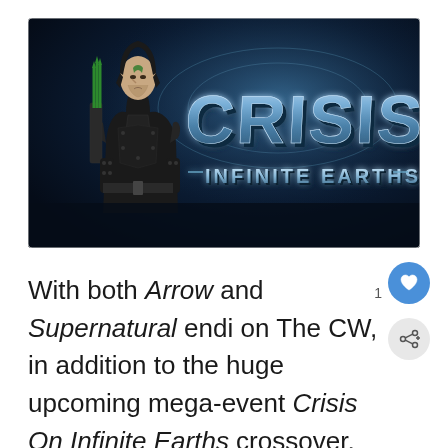[Figure (illustration): Promotional image for 'Crisis on Infinite Earths' CW crossover event, showing a man in black leather superhero costume (Green Arrow) holding arrows, with stylized metallic text reading 'CRISIS INFINITE EARTHS' on a dark blue background]
With both Arrow and Supernatural endi on The CW, in addition to the huge upcoming mega-event Crisis On Infinite Earths crossover, new DC shows are